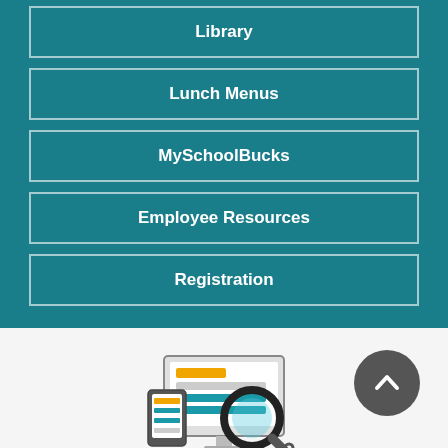Library
Lunch Menus
MySchoolBucks
Employee Resources
Registration
[Figure (illustration): Icon showing a desktop monitor, tablet, and smartphone with a magnifying glass overlay, representing FCPS website search]
FCPS searching for ...